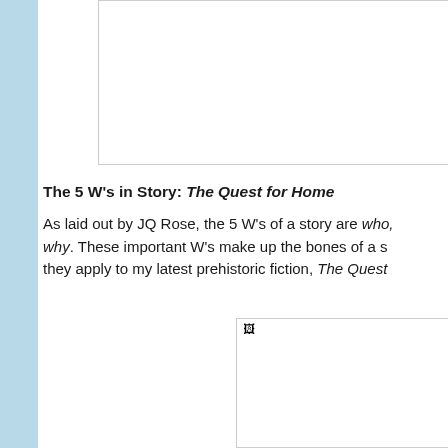[Figure (other): Empty white box with light border at top of page]
The 5 W's in Story: The Quest for Home
As laid out by JQ Rose, the 5 W's of a story are who, what, where, when, and why. These important W's make up the bones of a story. Here's how they apply to my latest prehistoric fiction, The Quest
[Figure (photo): Image placeholder (broken image icon) for book cover or related illustration]